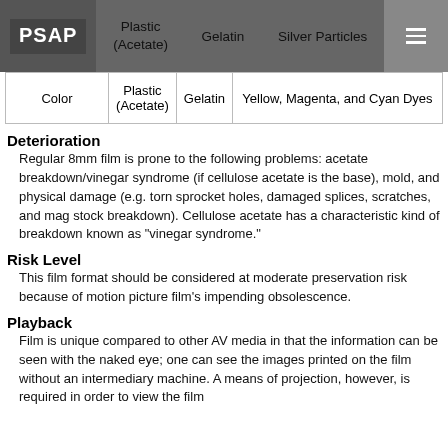PSAP | Plastic (Acetate) | Gelatin | Silver Particles
| Color | Plastic (Acetate) | Gelatin | Yellow, Magenta, and Cyan Dyes |
Deterioration
Regular 8mm film is prone to the following problems: acetate breakdown/vinegar syndrome (if cellulose acetate is the base), mold, and physical damage (e.g. torn sprocket holes, damaged splices, scratches, and mag stock breakdown). Cellulose acetate has a characteristic kind of breakdown known as "vinegar syndrome."
Risk Level
This film format should be considered at moderate preservation risk because of motion picture film's impending obsolescence.
Playback
Film is unique compared to other AV media in that the information can be seen with the naked eye; one can see the images printed on the film without an intermediary machine. A means of projection, however, is required in order to view the film